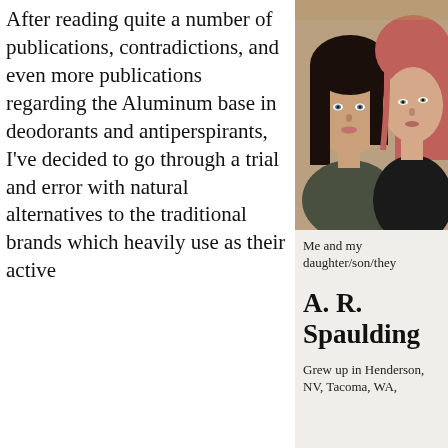After reading quite a number of publications, contradictions, and even more publications regarding the Aluminum base in deodorants and antiperspirants, I've decided to go through a trial and error with natural alternatives to the traditional brands which heavily use as their active
[Figure (photo): A photo of two women, one with dark hair and one with reddish-pink hair, posing close together for a selfie.]
Me and my daughter/son/they
A. R. Spaulding
Grew up in Henderson, NV, Tacoma, WA,